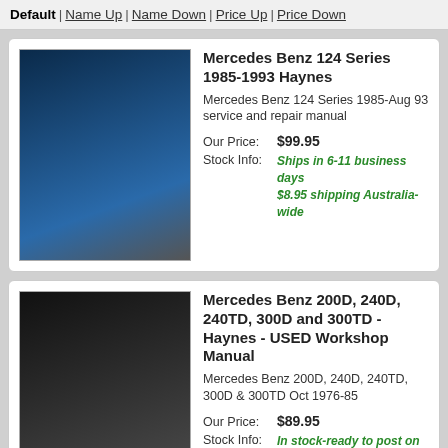Default | Name Up | Name Down | Price Up | Price Down
Mercedes Benz 124 Series 1985-1993 Haynes
Mercedes Benz 124 Series 1985-Aug 93 service and repair manual
Our Price: $99.95
Stock Info: Ships in 6-11 business days $8.95 shipping Australia-wide
Mercedes Benz 200D, 240D, 240TD, 300D and 300TD - Haynes - USED Workshop Manual
Mercedes Benz 200D, 240D, 240TD, 300D & 300TD Oct 1976-85
Our Price: $89.95
Stock Info: In stock-ready to post on Monday $8.95 shipping Australia-wide
Mercedes Benz 230, 250 and 280 - Haynes - USED
Mercedes Benz 230, 250 & 280 1968-72
Our Price: $149.95
Stock Info: In stock-ready to post on Monday $8.95 shipping Australia-wide